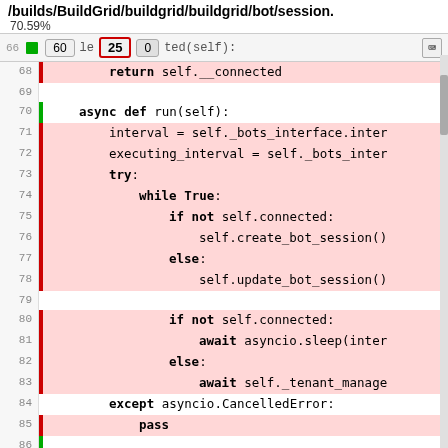/builds/BuildGrid/buildgrid/buildgrid/bot/session.
70.59%
[Figure (screenshot): Code coverage viewer toolbar with buttons: 60, 25, 0 and keyboard icon]
Code lines 66-86 from bot/session.py showing async def run(self) method with coverage highlighting. Red lines indicate uncovered code.